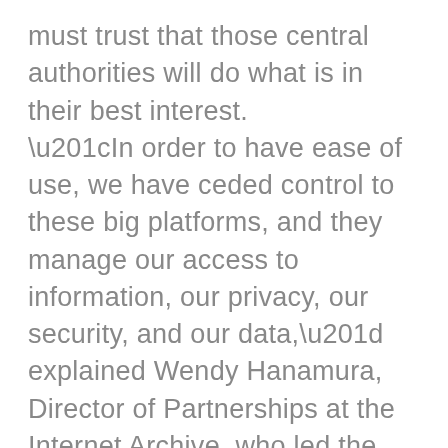must trust that those central authorities will do what is in their best interest. “In order to have ease of use, we have ceded control to these big platforms, and they manage our access to information, our privacy, our security, and our data,” explained Wendy Hanamura, Director of Partnerships at the Internet Archive, who led the workshop. In contrast, the decentralized web is built on peer-to-peer technologies. Users could conceivably own their data. Rather than relying on a few dominant platforms, you could potentially store and share information across